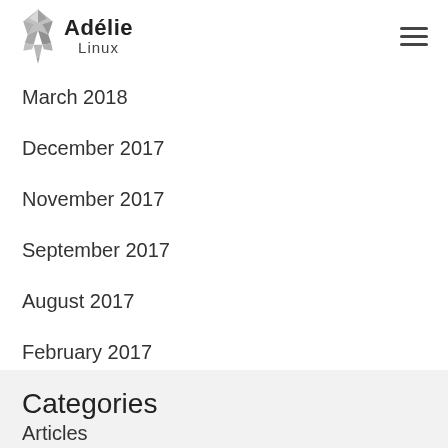Adélie Linux
March 2018
December 2017
November 2017
September 2017
August 2017
February 2017
December 2016
August 2016
Categories
Articles